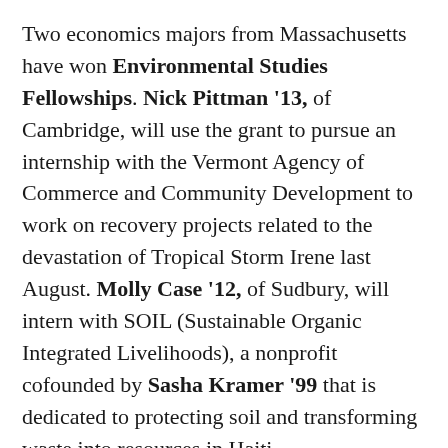Two economics majors from Massachusetts have won Environmental Studies Fellowships. Nick Pittman '13, of Cambridge, will use the grant to pursue an internship with the Vermont Agency of Commerce and Community Development to work on recovery projects related to the devastation of Tropical Storm Irene last August. Molly Case '12, of Sudbury, will intern with SOIL (Sustainable Organic Integrated Livelihoods), a nonprofit cofounded by Sasha Kramer '99 that is dedicated to protecting soil and transforming waste into resources in Haiti.
Daniel Carranza '12, of Chicago, and Sean O'Grady '12, of Howard Beach, New York, both